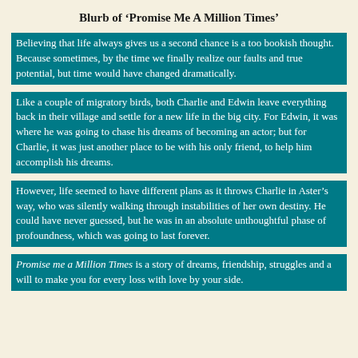Blurb of 'Promise Me A Million Times'
Believing that life always gives us a second chance is a too bookish thought. Because sometimes, by the time we finally realize our faults and true potential, but time would have changed dramatically.
Like a couple of migratory birds, both Charlie and Edwin leave everything back in their village and settle for a new life in the big city. For Edwin, it was where he was going to chase his dreams of becoming an actor; but for Charlie, it was just another place to be with his only friend, to help him accomplish his dreams.
However, life seemed to have different plans as it throws Charlie in Aster's way, who was silently walking through instabilities of her own destiny. He could have never guessed, but he was in an absolute unthoughtful phase of profoundness, which was going to last forever.
Promise me a Million Times is a story of dreams, friendship, struggles and a will to make you for every loss with love by your side.